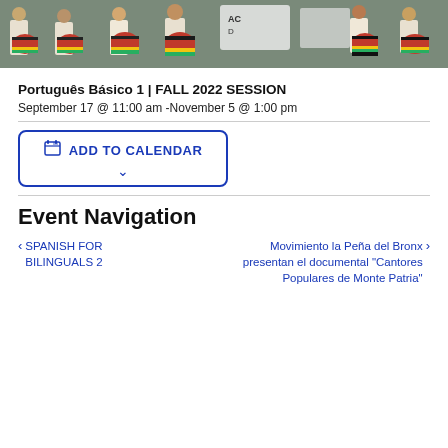[Figure (photo): Group of people in white shirts holding colorful drums (red, yellow, green, black striped) with signs in the background outdoors.]
Português Básico 1 | FALL 2022 SESSION
September 17 @ 11:00 am -November 5 @ 1:00 pm
ADD TO CALENDAR
Event Navigation
< SPANISH FOR BILINGUALS 2
Movimiento la Peña del Bronx presentan el documental "Cantores Populares de Monte Patria" >